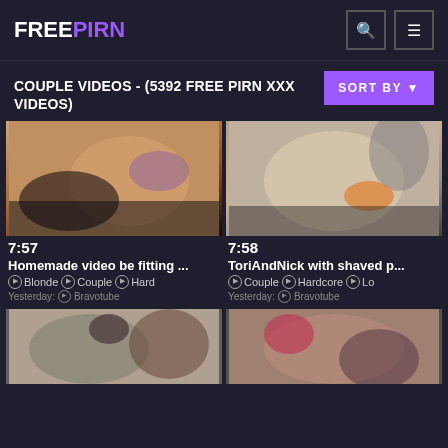FREEPIRN
COUPLE VIDEOS - (5392 FREE PIRN XXX VIDEOS)
SORT BY
[Figure (photo): Video thumbnail - 7:57, Homemade video be fitting..., Tags: Blonde, Couple, Hard, Source: Yesterday, Bravotube]
[Figure (photo): Video thumbnail - 7:58, ToriAndNick with shaved p..., Tags: Couple, Hardcore, Lo, Source: Yesterday, Bravotube]
[Figure (photo): Video thumbnail - bottom left partial]
[Figure (photo): Video thumbnail - bottom right partial]